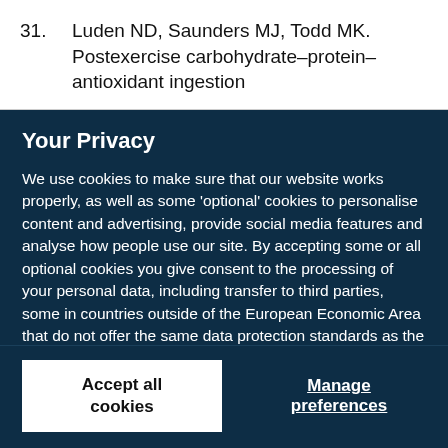31. Luden ND, Saunders MJ, Todd MK. Postexercise carbohydrate–protein–antioxidant ingestion
Your Privacy
We use cookies to make sure that our website works properly, as well as some 'optional' cookies to personalise content and advertising, provide social media features and analyse how people use our site. By accepting some or all optional cookies you give consent to the processing of your personal data, including transfer to third parties, some in countries outside of the European Economic Area that do not offer the same data protection standards as the country where you live. You can decide which optional cookies to accept by clicking on 'Manage Settings', where you can also find more information about how your personal data is processed. Further information can be found in our privacy policy.
Accept all cookies
Manage preferences